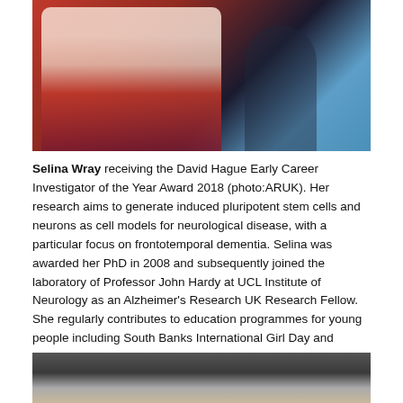[Figure (photo): Two women standing together, one holding a framed award certificate. Blue background with shadow figure.]
Selina Wray receiving the David Hague Early Career Investigator of the Year Award 2018 (photo:ARUK). Her research aims to generate induced pluripotent stem cells and neurons as cell models for neurological disease, with a particular focus on frontotemporal dementia. Selina was awarded her PhD in 2008 and subsequently joined the laboratory of Professor John Hardy at UCL Institute of Neurology as an Alzheimer's Research UK Research Fellow. She regularly contributes to education programmes for young people including South Banks International Girl Day and Wellcome's 'Cell: the patterns of life Biology discussion event and was selected for Red magazine's 'Women Shaping Your World' Awards 2014.
[Figure (photo): Close-up photo of a blonde woman looking up, partially visible at the bottom of the page.]